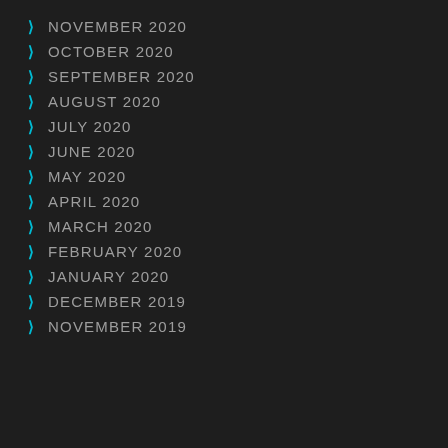NOVEMBER 2020
OCTOBER 2020
SEPTEMBER 2020
AUGUST 2020
JULY 2020
JUNE 2020
MAY 2020
APRIL 2020
MARCH 2020
FEBRUARY 2020
JANUARY 2020
DECEMBER 2019
NOVEMBER 2019